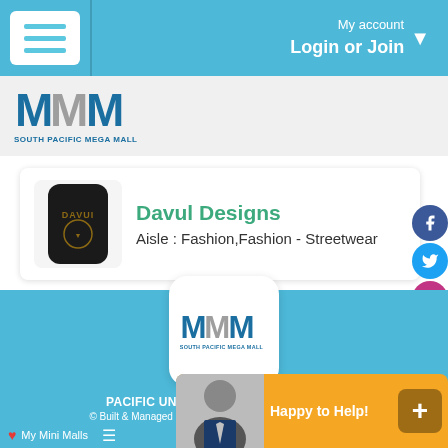My account Login or Join
[Figure (logo): South Pacific Mega Mall logo - MMM text with 'SOUTH PACIFIC MEGA MALL' below]
Davul Designs
Aisle : Fashion,Fashion - Streetwear
[Figure (logo): South Pacific Mega Mall logo in footer section]
PACIFIC UNLIMITED TIN 34 057 541 762
© Built & Managed by Turquoise Media. All Rights Reserved.
My Mini Malls
Happy to Help!